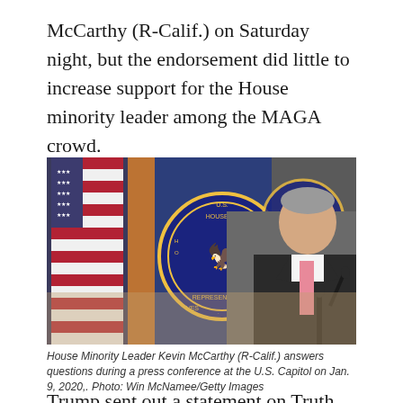McCarthy (R-Calif.) on Saturday night, but the endorsement did little to increase support for the House minority leader among the MAGA crowd.
[Figure (photo): House Minority Leader Kevin McCarthy (R-Calif.) standing at a podium with American flag and U.S. House of Representatives seal visible in the background.]
House Minority Leader Kevin McCarthy (R-Calif.) answers questions during a press conference at the U.S. Capitol on Jan. 9, 2020,. Photo: Win McNamee/Getty Images
Trump sent out a statement on Truth Social, his